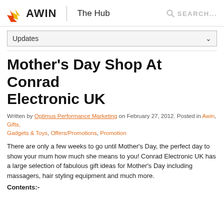AWIN | The Hub — SEARCH...
Updates
Mother's Day Shop At Conrad Electronic UK
Written by Optimus Performance Marketing on February 27, 2012. Posted in Awin, Gifts, Gadgets & Toys, Offers/Promotions, Promotion
There are only a few weeks to go until Mother's Day, the perfect day to show your mum how much she means to you! Conrad Electronic UK has a large selection of fabulous gift ideas for Mother's Day including massagers, hair styling equipment and much more.
Contents:-